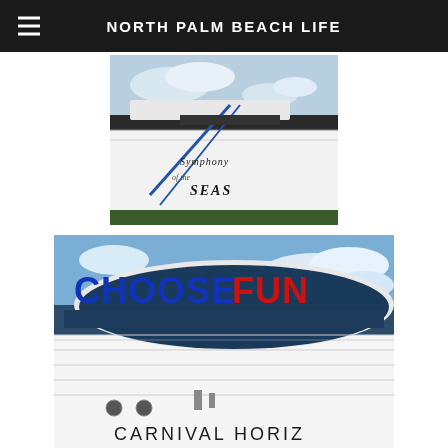NORTH PALM BEACH LIFE
[Figure (photo): Close-up photo of the Symphony of the Seas cruise ship hull with the ship name visible in italic lettering, docked at port with blue ropes and cloudy sky.]
[Figure (photo): Close-up photo of the Carnival Horizon cruise ship bow with 'CHOOSE FUN' text prominently displayed in blue and red letters, blue sky with clouds in background.]